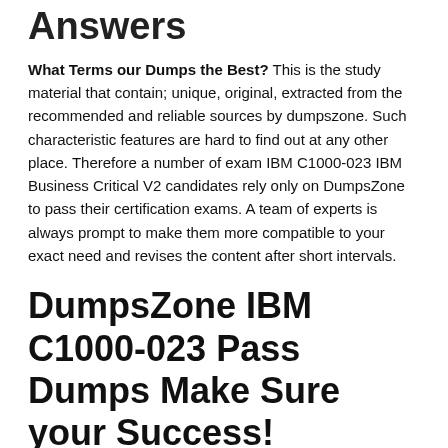Answers
What Terms our Dumps the Best? This is the study material that contain; unique, original, extracted from the recommended and reliable sources by dumpszone. Such characteristic features are hard to find out at any other place. Therefore a number of exam IBM C1000-023 IBM Business Critical V2 candidates rely only on DumpsZone to pass their certification exams. A team of experts is always prompt to make them more compatible to your exact need and revises the content after short intervals.
DumpsZone IBM C1000-023 Pass Dumps Make Sure your Success!
DumpsZone's very valuable braindumps are meant to level your way to a brilliant certification exam success. We assure you of your success with a 100% money back guarantee. This reflects our confidence on our product and on their practical importance that each dump with add to your skills and professional expertise. Thousands of students have already gained success.